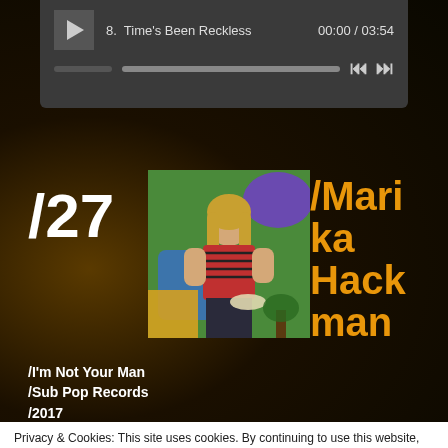[Figure (screenshot): Music player bar showing track 8 'Time's Been Reckless' at 00:00 / 03:54 with play button, progress bar, and navigation controls]
/27
[Figure (photo): Album art photo showing a young woman with blonde hair wearing a red striped shirt, standing in a colorful room with green walls and blue/purple shapes]
/Marika Hackman
/I'm Not Your Man
/Sub Pop Records
/2017
Privacy & Cookies: This site uses cookies. By continuing to use this website, you agree to their use.
To find out more, including how to control cookies, see here: Cookie Policy
Close and accept